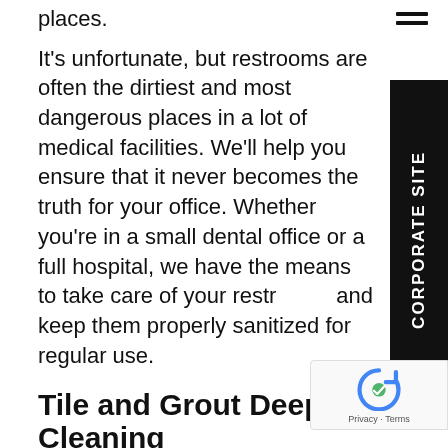places.
It's unfortunate, but restrooms are often the dirtiest and most dangerous places in a lot of medical facilities. We'll help you ensure that it never becomes the truth for your office. Whether you're in a small dental office or a full hospital, we have the means to take care of your restrooms and keep them properly sanitized for regular use.
Tile and Grout Deep Cleaning
We also offer a specialized service for cleaning tile and grout. Many restrooms benefit from this service, but so do exam rooms, kitchens, and many rooms for an endless variety of medical treatments.
The simple fact is that many tiles are great at resisting